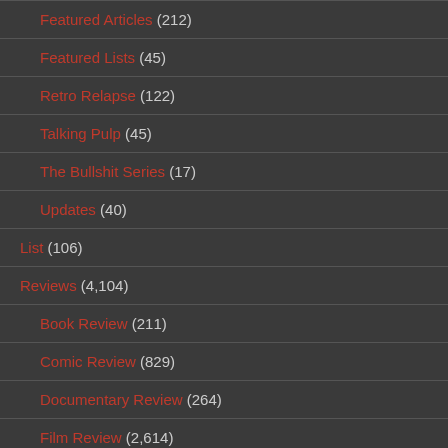Featured Articles (212)
Featured Lists (45)
Retro Relapse (122)
Talking Pulp (45)
The Bullshit Series (17)
Updates (40)
List (106)
Reviews (4,104)
Book Review (211)
Comic Review (829)
Documentary Review (264)
Film Review (2,614)
TV Review (283)